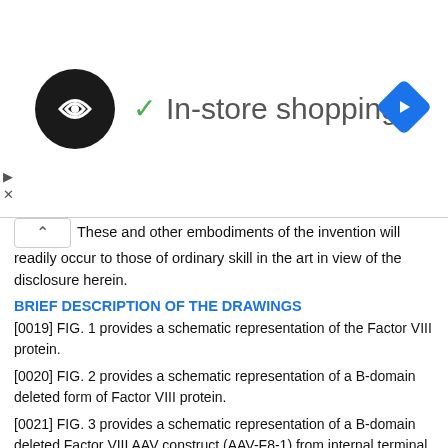[Figure (screenshot): In-store shopping advertisement banner with logo, checkmark, text, and navigation icon]
These and other embodiments of the invention will readily occur to those of ordinary skill in the art in view of the disclosure herein.
BRIEF DESCRIPTION OF THE DRAWINGS
[0019] FIG. 1 provides a schematic representation of the Factor VIII protein.
[0020] FIG. 2 provides a schematic representation of a B-domain deleted form of Factor VIII protein.
[0021] FIG. 3 provides a schematic representation of a B-domain deleted Factor VIII AAV construct (AAV-F8-1) from internal terminal repeat (ITR to ITR), including control sequences.
[0022] FIG. 4 provides a schematic representation of a B-domain deleted Factor VIII AAV construct (PVM4.1c-F8ΔB) from internal terminal repeat (ITR to ITR), including control sequences.
[0023] FIG. 5 provides the sequence of pAAV-F8-1 (ITR to ITR), with the plasmid backbone omitted.
[0024] FIG. 6 provides the sequence of pVm4.lcF8ΔB (ITR to ITR), with the